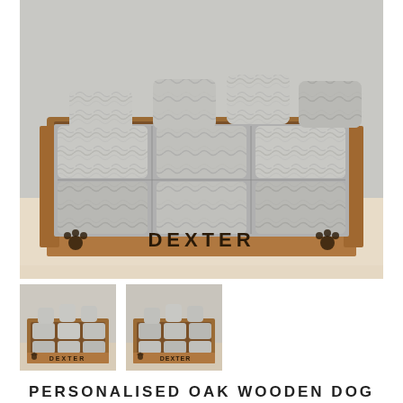[Figure (photo): Large main product photo of a personalised oak wooden dog bed named DEXTER with silver crushed velvet cushions and pillows, shown on a light wood floor against a grey wall. The wooden frame has paw print engravings on either side of the name DEXTER on the front panel.]
[Figure (photo): Small thumbnail of the same DEXTER dog bed from a slightly different angle, showing the silver cushions and wooden frame with DEXTER label visible.]
[Figure (photo): Small thumbnail of the same DEXTER dog bed from another angle, showing the silver cushions and wooden frame with DEXTER label and paw print visible.]
PERSONALISED OAK WOODEN DOG